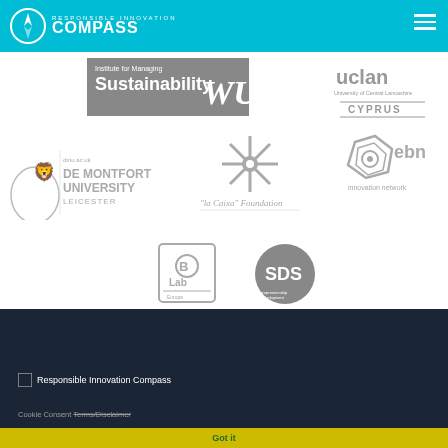Responsible Innovation Compass
[Figure (logo): Institute for Managing Sustainability / WU Vienna logo (grayscale)]
[Figure (logo): UCLan Cyprus university logo (grayscale)]
[Figure (logo): De Montfort University Leicester logo (grayscale)]
[Figure (logo): la Caixa Foundation logo (grayscale)]
[Figure (logo): EBN Innovation Network logo (grayscale)]
[Figure (logo): B Lab Europe logo (grayscale)]
[Figure (logo): SDS logo (grayscale)]
Responsible Innovation Compass
Cookie Consent Terms/Disclaimer
Got it